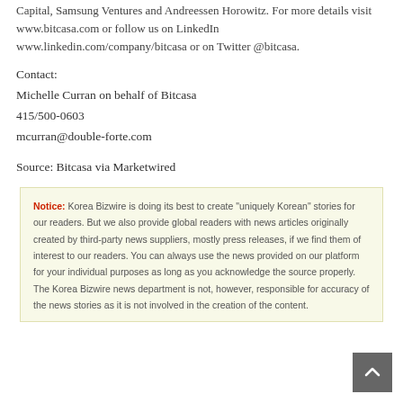Capital, Samsung Ventures and Andreessen Horowitz. For more details visit www.bitcasa.com or follow us on LinkedIn www.linkedin.com/company/bitcasa or on Twitter @bitcasa.
Contact:
Michelle Curran on behalf of Bitcasa
415/500-0603
mcurran@double-forte.com
Source: Bitcasa via Marketwired
Notice: Korea Bizwire is doing its best to create "uniquely Korean" stories for our readers. But we also provide global readers with news articles originally created by third-party news suppliers, mostly press releases, if we find them of interest to our readers. You can always use the news provided on our platform for your individual purposes as long as you acknowledge the source properly. The Korea Bizwire news department is not, however, responsible for accuracy of the news stories as it is not involved in the creation of the content.